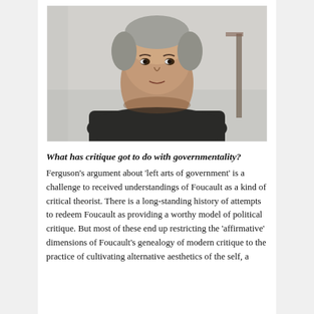[Figure (photo): Black and white portrait photograph of a middle-aged man with short grey hair, wearing a dark turtleneck sweater, looking pensively to the side. Background is light/neutral.]
What has critique got to do with governmentality?
Ferguson’s argument about ‘left arts of government’ is a challenge to received understandings of Foucault as a kind of critical theorist. There is a long-standing history of attempts to redeem Foucault as providing a worthy model of political critique. But most of these end up restricting the ‘affirmative’ dimensions of Foucault’s genealogy of modern critique to the practice of cultivating alternative aesthetics of the self, a